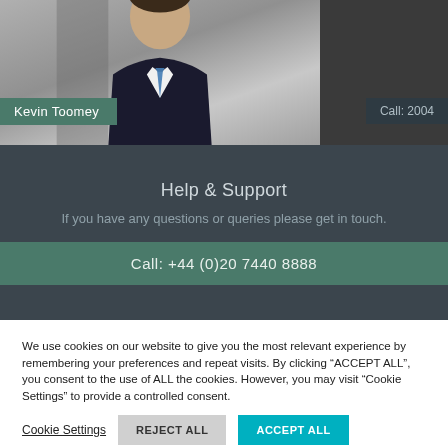[Figure (photo): Portrait photo of a man in a dark suit with a blue tie against a grey background. Name badge reads 'Kevin Toomey' in green. Call year badge reads 'Call: 2004' in dark right area.]
Help & Support
If you have any questions or queries please get in touch.
Call: +44 (0)20 7440 8888
We use cookies on our website to give you the most relevant experience by remembering your preferences and repeat visits. By clicking “ACCEPT ALL”, you consent to the use of ALL the cookies. However, you may visit "Cookie Settings" to provide a controlled consent.
Cookie Settings
REJECT ALL
ACCEPT ALL